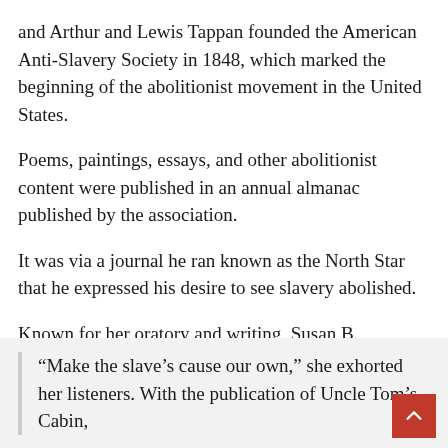and Arthur and Lewis Tappan founded the American Anti-Slavery Society in 1848, which marked the beginning of the abolitionist movement in the United States.
Poems, paintings, essays, and other abolitionist content were published in an annual almanac published by the association.
It was via a journal he ran known as the North Star that he expressed his desire to see slavery abolished.
Known for her oratory and writing, Susan B.
“Make the slave’s cause our own,” she exhorted her listeners. With the publication of Uncle Tom’s Cabin,